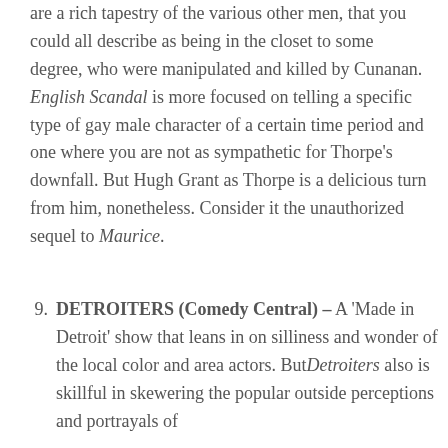are a rich tapestry of the various other men, that you could all describe as being in the closet to some degree, who were manipulated and killed by Cunanan. English Scandal is more focused on telling a specific type of gay male character of a certain time period and one where you are not as sympathetic for Thorpe's downfall. But Hugh Grant as Thorpe is a delicious turn from him, nonetheless. Consider it the unauthorized sequel to Maurice.
9. DETROITERS (Comedy Central) – A 'Made in Detroit' show that leans in on silliness and wonder of the local color and area actors. But Detroiters also is skillful in skewering the popular outside perceptions and portrayals of